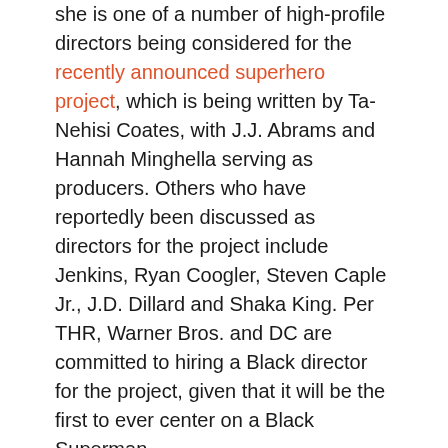she is one of a number of high-profile directors being considered for the recently announced superhero project, which is being written by Ta-Nehisi Coates, with J.J. Abrams and Hannah Minghella serving as producers. Others who have reportedly been discussed as directors for the project include Jenkins, Ryan Coogler, Steven Caple Jr., J.D. Dillard and Shaka King. Per THR, Warner Bros. and DC are committed to hiring a Black director for the project, given that it will be the first to ever center on a Black Superman.
Superman rumors involving King come on the heels of the announcement that she will be directing an adaptation of the Image Comics series Bitter Root for Legendary. Last year, the actress made her feature directorial debut with One Night in Miami…, an adaptation of the